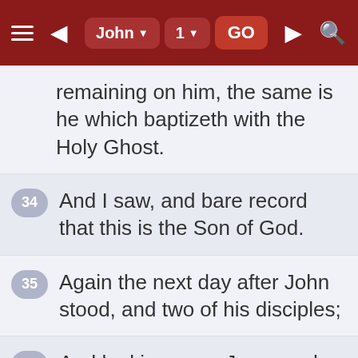John 1 GO
remaining on him, the same is he which baptizeth with the Holy Ghost.
34 And I saw, and bare record that this is the Son of God.
35 Again the next day after John stood, and two of his disciples;
36 And looking upon Jesus as he walked, he saith, Behold the Lamb of God!
37 And the two disciples heard him speak, and they followed Jesus.